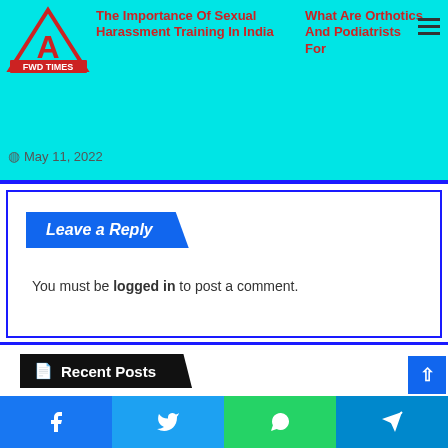FWD TIMES - The Importance Of Sexual Harassment Training In India | What Are Orthotics And Podiatrists For
May 11, 2022
Leave a Reply
You must be logged in to post a comment.
Recent Posts
[Figure (photo): Two fence posts with wire fencing, green field and trees in background - left thumbnail]
[Figure (photo): Two fence posts with wire fencing, green field and trees in background - right thumbnail]